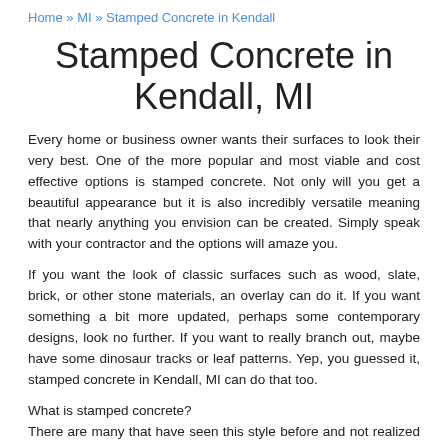Home » MI » Stamped Concrete in Kendall
Stamped Concrete in Kendall, MI
Every home or business owner wants their surfaces to look their very best. One of the more popular and most viable and cost effective options is stamped concrete. Not only will you get a beautiful appearance but it is also incredibly versatile meaning that nearly anything you envision can be created. Simply speak with your contractor and the options will amaze you.
If you want the look of classic surfaces such as wood, slate, brick, or other stone materials, an overlay can do it. If you want something a bit more updated, perhaps some contemporary designs, look no further. If you want to really branch out, maybe have some dinosaur tracks or leaf patterns. Yep, you guessed it, stamped concrete in Kendall, MI can do that too.
What is stamped concrete?
There are many that have seen this style before and not realized what they were looking at. It is known for its ability to